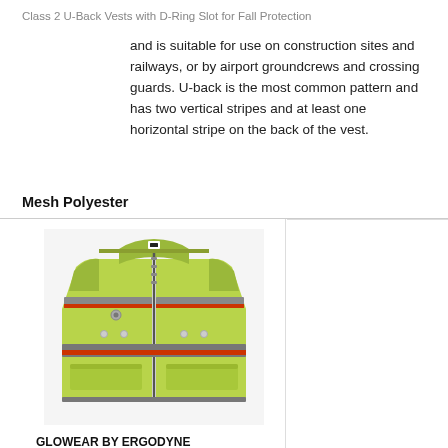Class 2 U-Back Vests with D-Ring Slot for Fall Protection
and is suitable for use on construction sites and railways, or by airport groundcrews and crossing guards. U-back is the most common pattern and has two vertical stripes and at least one horizontal stripe on the back of the vest.
Mesh Polyester
[Figure (photo): Yellow-green high visibility safety vest with reflective gray and orange stripes, zipper closure, and pockets]
GLOWEAR BY ERGODYNE Tool Tethering Safety Vest: ANSI Class 2, U, Mesh Polyester, Zipper, Contrasting